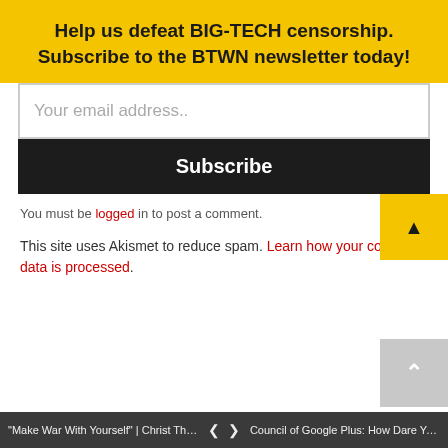Help us defeat BIG-TECH censorship. Subscribe to the BTWN newsletter today!
Your email address..
Subscribe
You must be logged in to post a comment.
This site uses Akismet to reduce spam. Learn how your comment data is processed.
Search This Website
"Make War With Yourself" | Christ The Ro... < > Council of Google Plus: How Dare You!